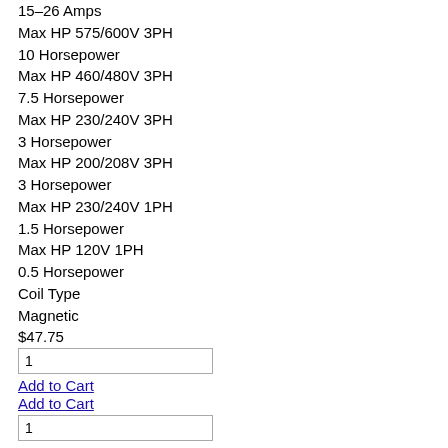15–26 Amps
Max HP 575/600V 3PH
10 Horsepower
Max HP 460/480V 3PH
7.5 Horsepower
Max HP 230/240V 3PH
3 Horsepower
Max HP 200/208V 3PH
3 Horsepower
Max HP 230/240V 1PH
1.5 Horsepower
Max HP 120V 1PH
0.5 Horsepower
Coil Type
Magnetic
$47.75
1
Add to Cart
Add to Cart
1
In Stock
Get an Instant Quote
Ground orders before 5:00 PM ET ship within 24 hours!
ABB Miniature Controls, B Series